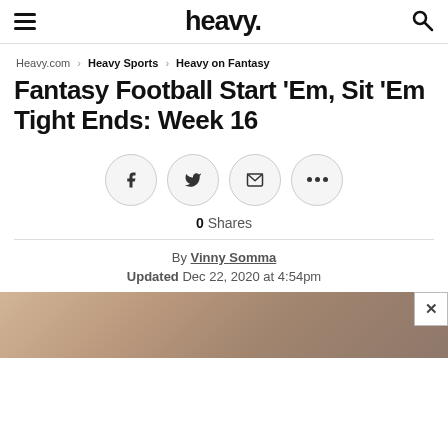heavy.
Heavy.com › Heavy Sports › Heavy on Fantasy
Fantasy Football Start 'Em, Sit 'Em Tight Ends: Week 16
[Figure (infographic): Social sharing buttons: Facebook, Twitter, Email, More (ellipsis)]
0 Shares
By Vinny Somma
Updated Dec 22, 2020 at 4:54pm
[Figure (photo): Blurred photo of a football player helmet at the bottom of the page]